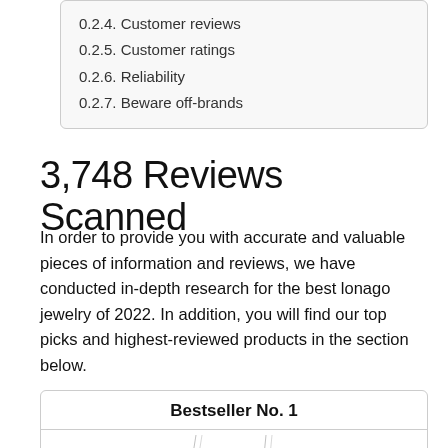0.2.4. Customer reviews
0.2.5. Customer ratings
0.2.6. Reliability
0.2.7. Beware off-brands
3,748 Reviews Scanned
In order to provide you with accurate and valuable pieces of information and reviews, we have conducted in-depth research for the best lonago jewelry of 2022. In addition, you will find our top picks and highest-reviewed products in the section below.
Bestseller No. 1
[Figure (photo): Two jewelry necklaces displayed on a white background]